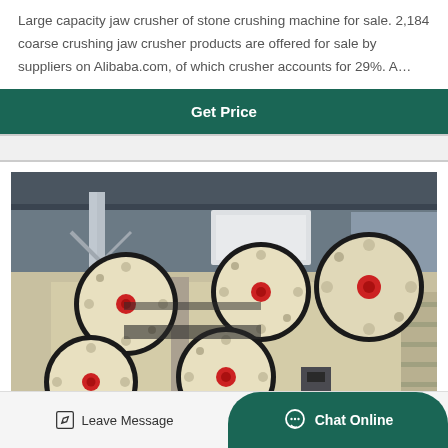Large capacity jaw crusher of stone crushing machine for sale. 2,184 coarse crushing jaw crusher products are offered for sale by suppliers on Alibaba.com, of which crusher accounts for 29%. A…
[Figure (other): Button labeled 'Get Price' on a dark teal/green background]
[Figure (photo): Photo of large capacity jaw crushers with prominent cream-colored flywheels with red centers, in an industrial factory setting]
Leave Message
Chat Online